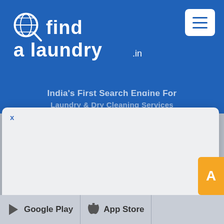[Figure (screenshot): Find a Laundry website screenshot showing blue header with logo and hamburger menu, a modal popup with close X button, orange button, and Google Play / App Store badges at bottom]
find a laundry .in
India's First Search Engine For Laundry & Dry Cleaning Services
x
Google Play  App Store